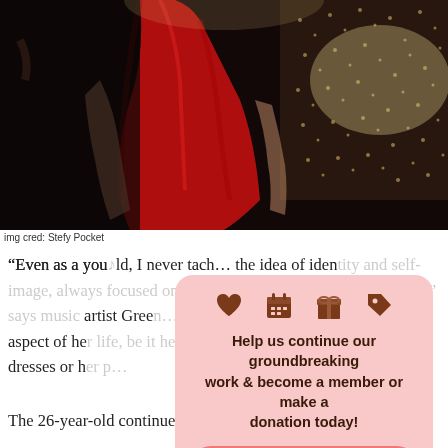[Figure (photo): Person wearing a red dress/top, viewed from behind, standing in front of a sparkly/sequined backdrop. Dark atmospheric lighting.]
img cred: Stefy Pocket
“Even as a young child, I never attached to the idea of identity and self-image, always focused on forming and then reinventing myself,” says music artist Green… about her preference to not apply labels to any aspect of her life, be it her genre – which she loosely defi… dresses or her p…
[Figure (infographic): Pink rounded popup box with icons (heart, calendar, gift, tag), bold text: 'Help us continue our groundbreaking work & become a member or make a donation today!' and a pink 'BECOME A MEMBER' button. Gray X close button at bottom right.]
The 26-year-old continues, “For me, I come from